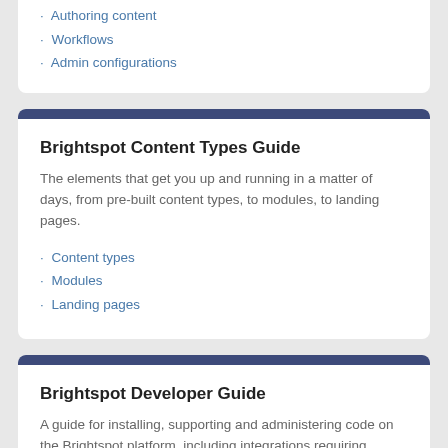Authoring content
Workflows
Admin configurations
Brightspot Content Types Guide
The elements that get you up and running in a matter of days, from pre-built content types, to modules, to landing pages.
Content types
Modules
Landing pages
Brightspot Developer Guide
A guide for installing, supporting and administering code on the Brightspot platform, including integrations requiring developer support to use.